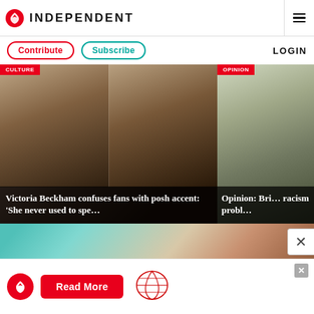INDEPENDENT
Contribute
Subscribe
LOGIN
[Figure (photo): Victoria Beckham collage with two images of her face, dark overlay with headline]
Victoria Beckham confuses fans with posh accent: ‘She never used to spe…
[Figure (photo): Traffic scene on a street, partial image on right side with Opinion headline]
Opinion: Bri… racism probl…
[Figure (photo): Close-up of feet with red nail polish being examined by gloved hands]
Read More